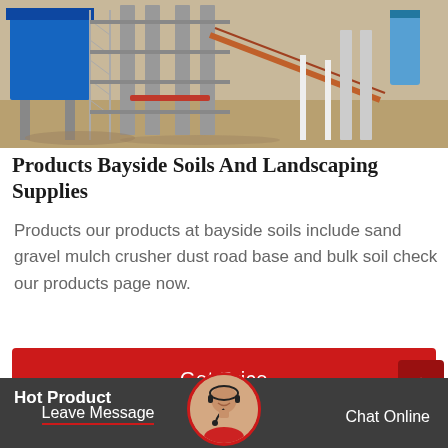[Figure (photo): Aerial view of an industrial facility with blue metal structures, conveyor belts, scaffolding, and machinery on a sandy site.]
Products Bayside Soils And Landscaping Supplies
Products our products at bayside soils include sand gravel mulch crusher dust road base and bulk soil check our products page now.
Get Price
Hot Product
Leave Message   Chat Online